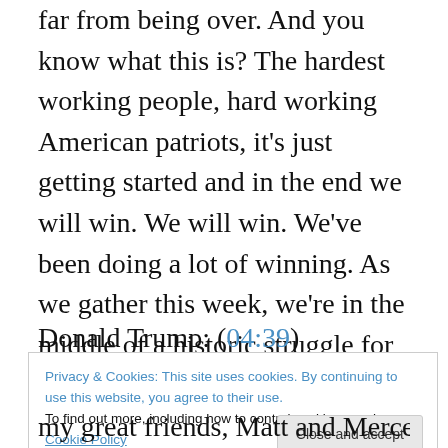successful. We began it together four years ago and it's far from being over. And you know what this is? The hardest working people, hard working American patriots, it's just getting started and in the end we will win. We will win. We've been doing a lot of winning. As we gather this week, we're in the middle of a historic struggle for America's future, America's culture and America's institutions, borders, and most cherished principles. Our security, our prosperity, and our very identity as Americans is at stake, like perhaps at no other time.
Donald Trump: (04:39)
Privacy & Cookies: This site uses cookies. By continuing to use this website, you agree to their use. To find out more, including how to control cookies, see here: Cookie Policy
Close and accept
my great friends, Matt and Mercedes Schlap, Matt, thank